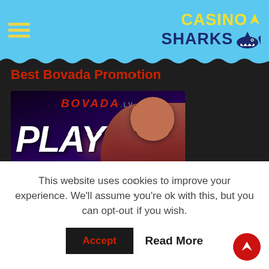Casino Sharks
Best Bovada Promotion
[Figure (screenshot): Bovada casino promotional image showing 'PLAY WITH LIVE' text overlay on a photo of a smiling man in a casino setting, with the BOVADA.lv logo at top]
This website uses cookies to improve your experience. We'll assume you're ok with this, but you can opt-out if you wish.
Accept   Read More